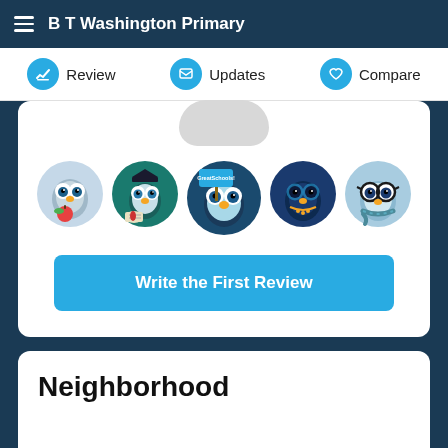B T Washington Primary
Review | Updates | Compare
[Figure (illustration): Five cartoon owl characters in circular frames representing different student/teacher personas for the GreatSchools review section. A 'Write the First Review' button appears below them.]
Neighborhood